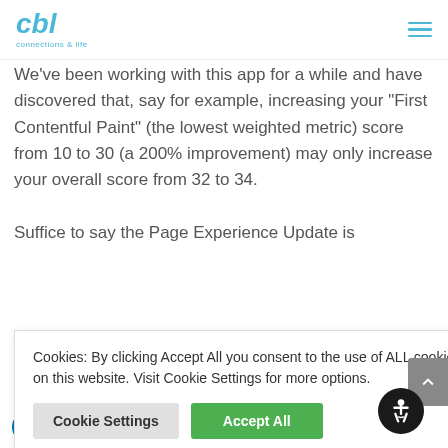cbl
We've been working with this app for a while and have discovered that, say for example, increasing your “First Contentful Paint” (the lowest weighted metric) score from 10 to 30 (a 200% improvement) may only increase your overall score from 32 to 34.
Suffice to say the Page Experience Update is [partially visible — continues below cookie banner] ...improve the ...ogle ...come ...e. Taking ...ptimising ...ill not only
Cookies: By clicking Accept All you consent to the use of ALL cookies on this website. Visit Cookie Settings for more options.
in | f | [twitter] | [whatsapp] | +